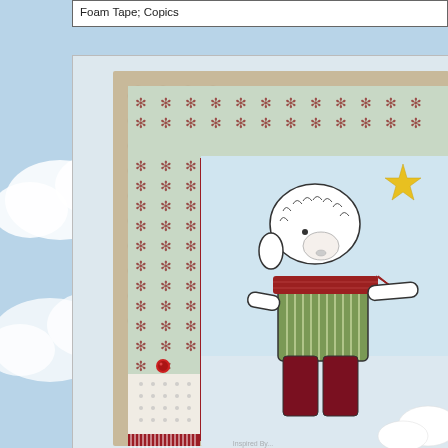Foam Tape; Copics
[Figure (photo): A handmade Christmas card featuring a cartoon sheep wearing a green striped sweater and red scarf with red pants, reaching toward a yellow star. The card has layered patterned papers including a tan embossed background, red cardstock, and green patterned paper with snowflake/poinsettia motifs, plus white ribbon fringe elements.]